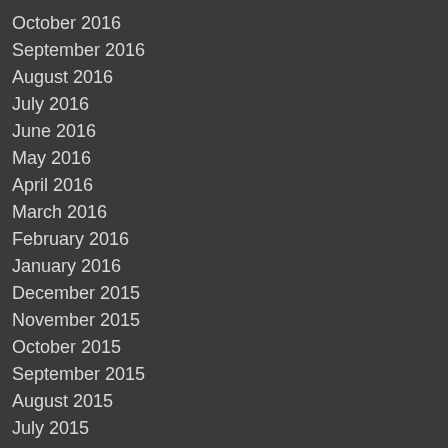October 2016
September 2016
August 2016
July 2016
June 2016
May 2016
April 2016
March 2016
February 2016
January 2016
December 2015
November 2015
October 2015
September 2015
August 2015
July 2015
June 2015
May 2015
April 2015
March 2015